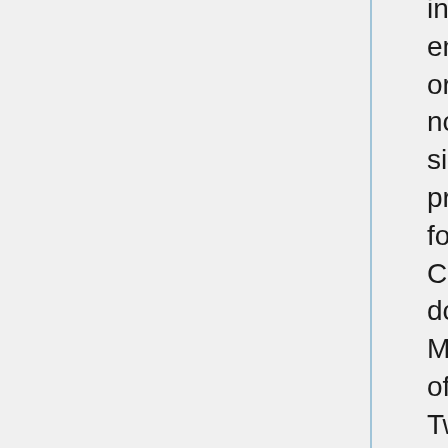interest in buying them so that embarrassing facts about the origins of the movement would not be known, Hofmann set his sights on a more lucrative project: claiming that he had found the lost “McLellin Collection.” This was a series of documents from William McLellin, one of the members of the very first “Quorum of the Twelve Apostles” whose faith in the church was shaken because of changes that were being made in doctrines that were supposedly revelations of God. It was also known among Mormon historians that McLellin claimed to have information on Joseph Smith’s adulterous relationship with young Fannie Alger, information that was given to McLellin by Smith’s wife Emma. For these reasons, the church leadership was anxious to make sure that Hofmann would not allow anyone else access to